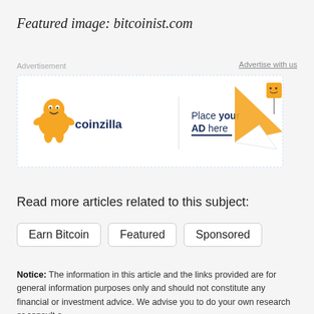Featured image: bitcoinist.com
Advertisement
Advertise with us
[Figure (illustration): Coinzilla advertisement banner with mascot logo, 'Place your AD here' text, and paper airplane graphic with orange triangle]
Read more articles related to this subject:
Earn Bitcoin
Featured
Sponsored
Notice: The information in this article and the links provided are for general information purposes only and should not constitute any financial or investment advice. We advise you to do your own research or consult a